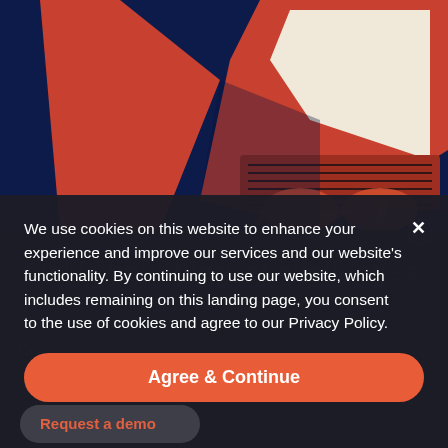[Figure (illustration): Stylized illustration of a person typing on a laptop, in red/orange and dark navy color scheme, geometric flat design style]
Tackle your biggest challenges
We're looking to topple the ivory tower. Do you want to se…
We use cookies on this website to enhance your experience and improve our services and our website's functionality. By continuing to use our website, which includes remaining on this landing page, you consent to the use of cookies and agree to our Privacy Policy.
Agree & Continue
Request a demo